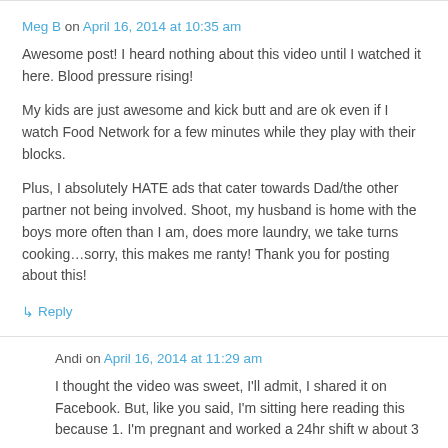Meg B on April 16, 2014 at 10:35 am
Awesome post! I heard nothing about this video until I watched it here. Blood pressure rising!
My kids are just awesome and kick butt and are ok even if I watch Food Network for a few minutes while they play with their blocks.
Plus, I absolutely HATE ads that cater towards Dad/the other partner not being involved. Shoot, my husband is home with the boys more often than I am, does more laundry, we take turns cooking…sorry, this makes me ranty! Thank you for posting about this!
↳ Reply
Andi on April 16, 2014 at 11:29 am
I thought the video was sweet, I'll admit, I shared it on Facebook. But, like you said, I'm sitting here reading this because 1. I'm pregnant and worked a 24hr shift w about 3